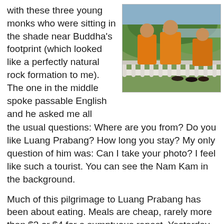with these three young monks who were sitting in the shade near Buddha's footprint (which looked like a perfectly natural rock formation to me). The one in the middle spoke passable English and he asked me all the usual questions: Where are you from? Do you like Luang Prabang? How long you stay? My only question of him was: Can I take your photo? I feel like such a tourist. You can see the Nam Kam in the background.
[Figure (photo): Three young Buddhist monks in orange robes sitting on a white balustrade railing with a river and green hills visible in the background.]
Much of this pilgrimage to Luang Prabang has been about eating. Meals are cheap, rarely more than $3 or $4 for a sumptuous repast. Yesterday we had a lunch of Thai food at the Blue Moon Café across from the bright red façade of Wat Sensoukarahm, and sticky rice with our meal in the evening on the top floor of Last Cuisine Restaurant where we could watch the evening activities on the main street (mostly people eating or looking at menus). The stairs at Last Cuisine were unusually steep like ones in our guesthouse